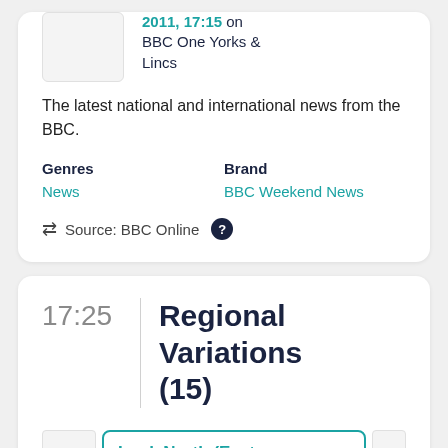2011, 17:15 on BBC One Yorks & Lincs
The latest national and international news from the BBC.
Genres
News
Brand
BBC Weekend News
Source: BBC Online
17:25
Regional Variations (15)
Look North (East